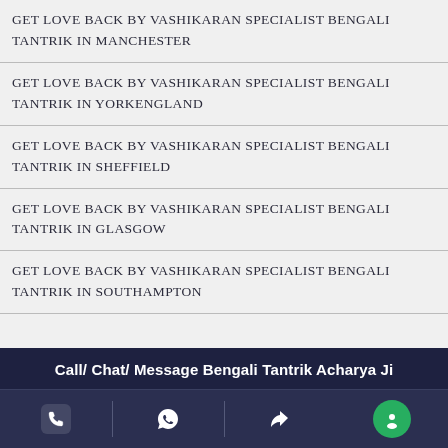GET LOVE BACK BY VASHIKARAN SPECIALIST BENGALI TANTRIK IN MANCHESTER
GET LOVE BACK BY VASHIKARAN SPECIALIST BENGALI TANTRIK IN YORKENGLAND
GET LOVE BACK BY VASHIKARAN SPECIALIST BENGALI TANTRIK IN SHEFFIELD
GET LOVE BACK BY VASHIKARAN SPECIALIST BENGALI TANTRIK IN GLASGOW
GET LOVE BACK BY VASHIKARAN SPECIALIST BENGALI TANTRIK IN SOUTHAMPTON
Call/ Chat/ Message Bengali Tantrik Acharya Ji